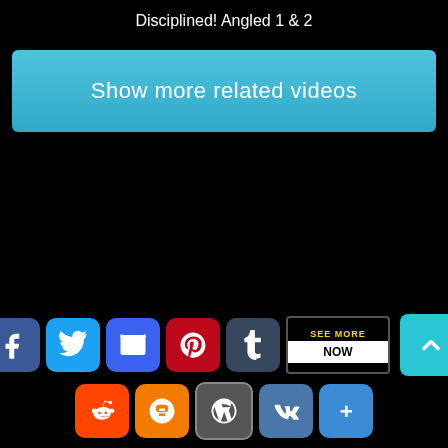Disciplined! Angled 1 & 2
Show more related videos
[Figure (screenshot): Social media share icons row 1: Facebook, Twitter, Email, Pinterest, Tumblr; row 2: Reddit, Blogger, WordPress, VK, Google+; with 'SEE MORE / NOW' overlay and scroll-to-top button]